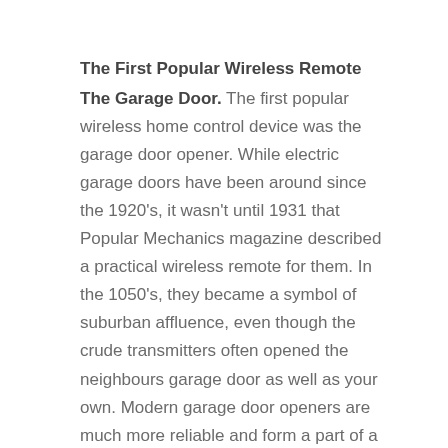The First Popular Wireless Remote
The Garage Door. The first popular wireless home control device was the garage door opener. While electric garage doors have been around since the 1920's, it wasn't until 1931 that Popular Mechanics magazine described a practical wireless remote for them. In the 1050's, they became a symbol of suburban affluence, even though the crude transmitters often opened the neighbours garage door as well as your own. Modern garage door openers are much more reliable and form a part of a complete IHT system.